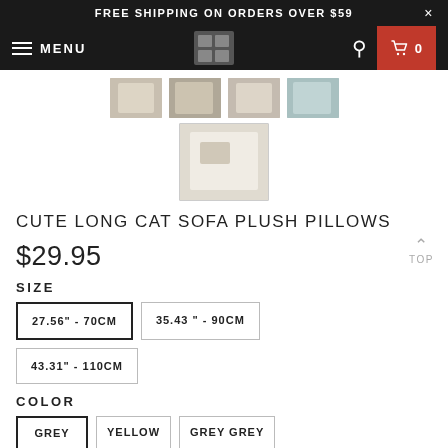FREE SHIPPING ON ORDERS OVER $59
[Figure (screenshot): E-commerce navigation bar with hamburger menu, MENU label, store logo, search icon, and cart icon showing 0 items]
[Figure (photo): Row of 4 small product thumbnail images of cat plush pillows]
[Figure (photo): Featured product thumbnail showing a cat plush pillow in a room setting]
CUTE LONG CAT SOFA PLUSH PILLOWS
$29.95
SIZE
27.56" - 70CM
35.43" - 90CM
43.31" - 110CM
COLOR
GREY
YELLOW
GREY GREY